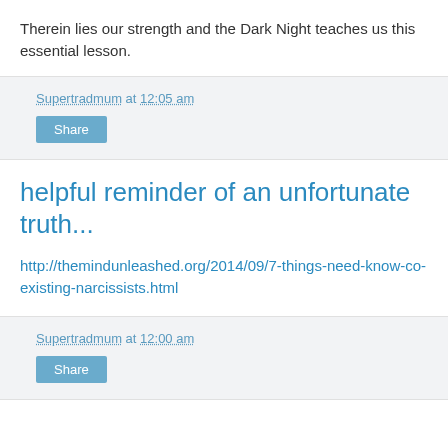Therein lies our strength and the Dark Night teaches us this essential lesson.
Supertradmum at 12:05 am
Share
helpful reminder of an unfortunate truth...
http://themindunleashed.org/2014/09/7-things-need-know-co-existing-narcissists.html
Supertradmum at 12:00 am
Share